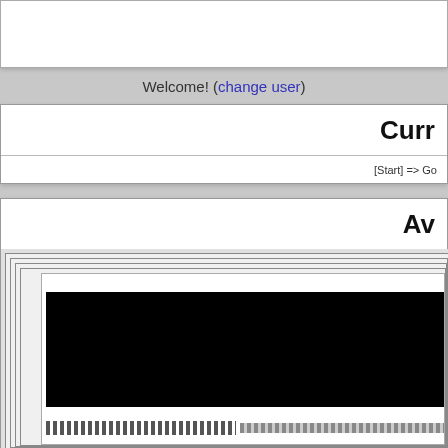Welcome! (change user)
Curr
[Start] => Go
Av
[Figure (screenshot): A nested set of framed panels containing a large black content area and a striped navigation bar at the bottom]